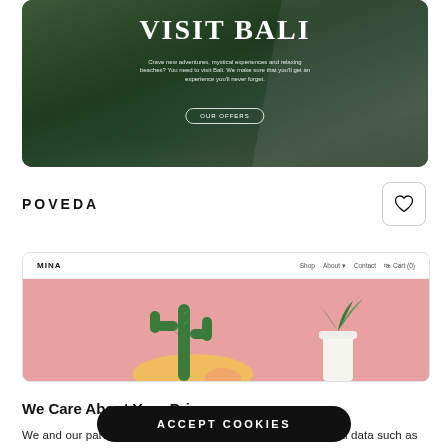[Figure (screenshot): Travel website screenshot showing 'VISIT BALI' hero banner with aerial view of green forest and a road, small subtitle text and 'OUR OFFERS' button]
POVEDA
[Figure (screenshot): E-commerce website screenshot showing 'MINA' brand in nav with Shop, About, Contact, Cart(0) links, and a pink hero section with a cactus and white vase with plant]
We Care About Your Privacy
We and our partners use cookies to store and access personal data such as browsing data for purposes such as serving and personalizing content and advertising and analyzing site traffic. You may find out more about the purposes for which we and our
ACCEPT COOKIES